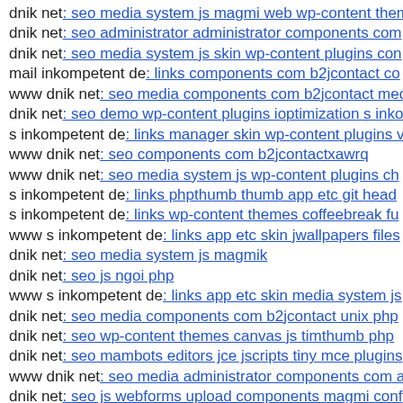dnik net: seo media system js magmi web wp-content them
dnik net: seo administrator administrator components com
dnik net: seo media system js skin wp-content plugins con
mail inkompetent de: links components com b2jcontact co
www dnik net: seo media components com b2jcontact med
dnik net: seo demo wp-content plugins ioptimization s inko
s inkompetent de: links manager skin wp-content plugins v
www dnik net: seo components com b2jcontactxawrq
www dnik net: seo media system js wp-content plugins ch
s inkompetent de: links phpthumb thumb app etc git head
s inkompetent de: links wp-content themes coffeebreak fu
www s inkompetent de: links app etc skin jwallpapers files
dnik net: seo media system js magmik
dnik net: seo js ngoi php
www s inkompetent de: links app etc skin media system js
dnik net: seo media components com b2jcontact unix php
dnik net: seo wp-content themes canvas js timthumb php
dnik net: seo mambots editors jce jscripts tiny mce plugins
www dnik net: seo media administrator components com a
dnik net: seo js webforms upload components magmi conf